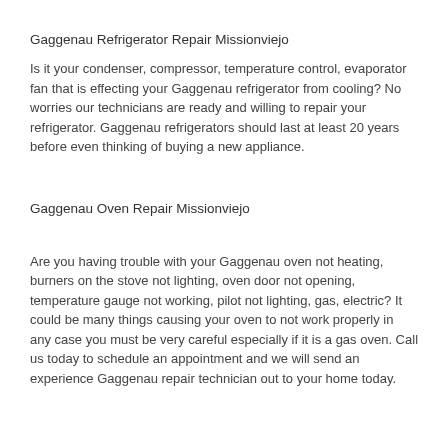Gaggenau Refrigerator Repair Missionviejo
Is it your condenser, compressor, temperature control, evaporator fan that is effecting your Gaggenau refrigerator from cooling? No worries our technicians are ready and willing to repair your refrigerator. Gaggenau refrigerators should last at least 20 years before even thinking of buying a new appliance.
Gaggenau Oven Repair Missionviejo
Are you having trouble with your Gaggenau oven not heating, burners on the stove not lighting, oven door not opening, temperature gauge not working, pilot not lighting, gas, electric? It could be many things causing your oven to not work properly in any case you must be very careful especially if it is a gas oven. Call us today to schedule an appointment and we will send an experience Gaggenau repair technician out to your home today.